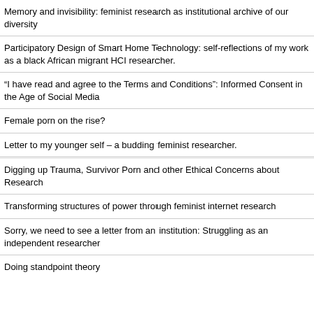Memory and invisibility: feminist research as institutional archive of our diversity
Participatory Design of Smart Home Technology: self-reflections of my work as a black African migrant HCI researcher.
“I have read and agree to the Terms and Conditions”: Informed Consent in the Age of Social Media
Female porn on the rise?
Letter to my younger self – a budding feminist researcher.
Digging up Trauma, Survivor Porn and other Ethical Concerns about Research
Transforming structures of power through feminist internet research
Sorry, we need to see a letter from an institution: Struggling as an independent researcher
Doing standpoint theory